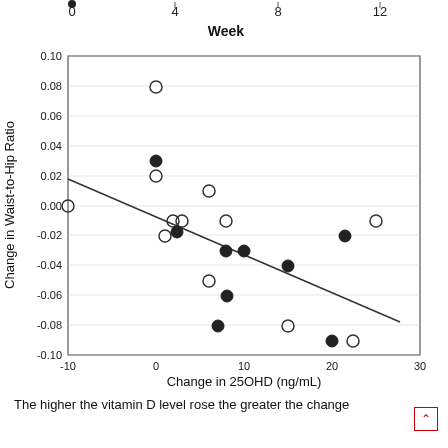[Figure (continuous-plot): Scatter plot showing Change in Waist-to-Hip Ratio (y-axis, -0.10 to 0.10) vs Change in 25OHD in ng/mL (x-axis, -10 to 30), with filled and open circles and a downward-sloping regression line. Partial x-axis at top shows Week 0 to 12.]
The higher the vitamin D level rose the greater the change in the waist-to-hip ratio favoring...